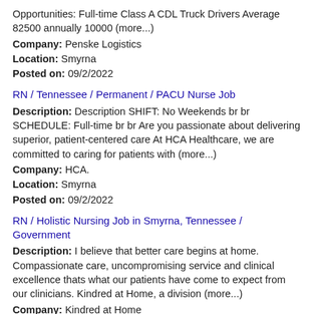Opportunities: Full-time Class A CDL Truck Drivers Average 82500 annually 10000 (more...)
Company: Penske Logistics
Location: Smyrna
Posted on: 09/2/2022
RN / Tennessee / Permanent / PACU Nurse Job
Description: Description SHIFT: No Weekends br br SCHEDULE: Full-time br br Are you passionate about delivering superior, patient-centered care At HCA Healthcare, we are committed to caring for patients with (more...)
Company: HCA.
Location: Smyrna
Posted on: 09/2/2022
RN / Holistic Nursing Job in Smyrna, Tennessee / Government
Description: I believe that better care begins at home. Compassionate care, uncompromising service and clinical excellence thats what our patients have come to expect from our clinicians. Kindred at Home, a division (more...)
Company: Kindred at Home
Location: Smyrna
Posted on: 09/2/2022